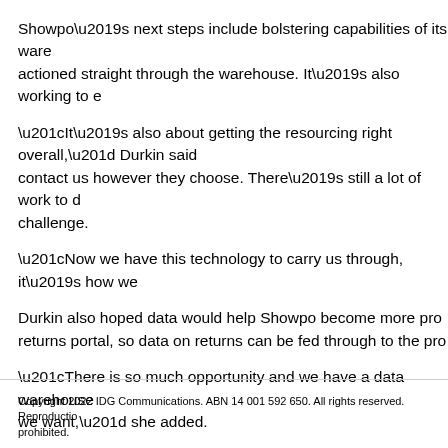Showpo’s next steps include bolstering capabilities of its warehouse, actioned straight through the warehouse. It’s also working to e…
“It’s also about getting the resourcing right overall,” Durkin said. contact us however they choose. There’s still a lot of work to d… challenge.
“Now we have this technology to carry us through, it’s how we…
Durkin also hoped data would help Showpo become more pro… returns portal, so data on returns can be fed through to the pro…
“There is so much opportunity and we have a data warehouse… we want,” she added.
Follow CMO on Twitter: @CMOAustralia, take part in the CMO… Facebook: https://www.facebook.com/CMOAustralia, or check…
Copyright 2022 IDG Communications. ABN 14 001 592 650. All rights reserved. Reproductio… prohibited.